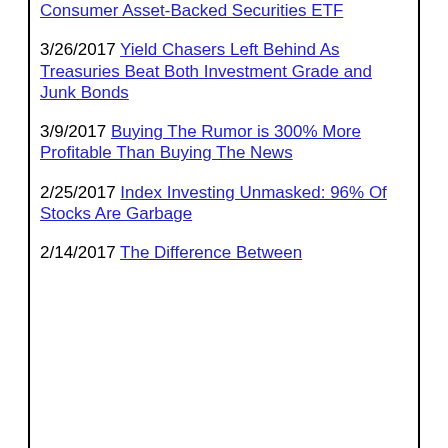Consumer Asset-Backed Securities ETF
3/26/2017 Yield Chasers Left Behind As Treasuries Beat Both Investment Grade and Junk Bonds
3/9/2017 Buying The Rumor is 300% More Profitable Than Buying The News
2/25/2017 Index Investing Unmasked: 96% Of Stocks Are Garbage
2/14/2017 The Difference Between